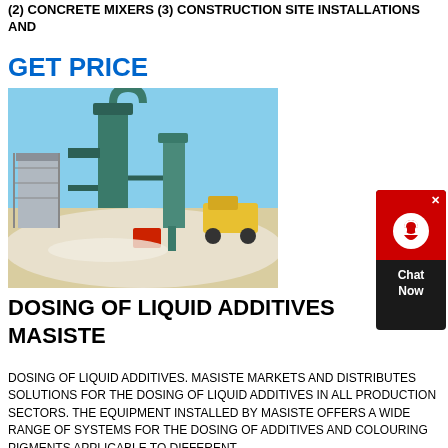(2) CONCRETE MIXERS (3) CONSTRUCTION SITE INSTALLATIONS AND
GET PRICE
[Figure (photo): Industrial milling/grinding equipment installation at a construction site with large green cyclone dust collectors, conveyor system, and yellow vehicle in background against blue sky.]
[Figure (infographic): Chat Now widget with red background, headset icon, and dark bottom panel with 'Chat Now' text.]
DOSING OF LIQUID ADDITIVES MASISTE
DOSING OF LIQUID ADDITIVES. MASISTE MARKETS AND DISTRIBUTES SOLUTIONS FOR THE DOSING OF LIQUID ADDITIVES IN ALL PRODUCTION SECTORS. THE EQUIPMENT INSTALLED BY MASISTE OFFERS A WIDE RANGE OF SYSTEMS FOR THE DOSING OF ADDITIVES AND COLOURING PIGMENTS APPLICABLE TO DIFFERENT